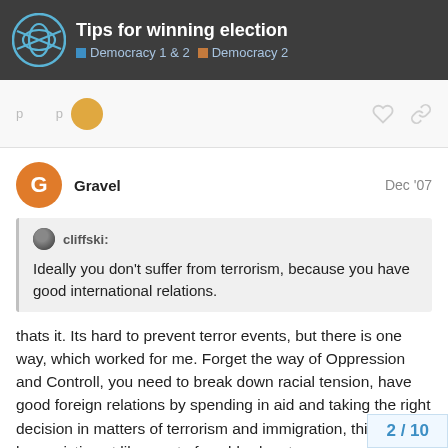Tips for winning election — Democracy 1 & 2 / Democracy 2
cliffski: Ideally you don't suffer from terrorism, because you have good international relations.
Gravel — Dec '07
thats it. Its hard to prevent terror events, but there is one way, which worked for me. Forget the way of Oppression and Controll, you need to break down racial tension, have good foreign relations by spending in aid and taking the right decision in matters of terrorism and immigration, think humanistic not like most of world-rulers t
2 / 10